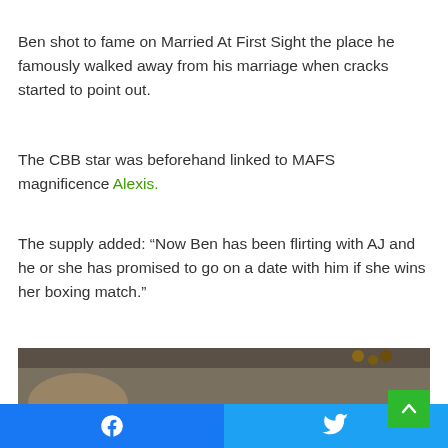Ben shot to fame on Married At First Sight the place he famously walked away from his marriage when cracks started to point out.
The CBB star was beforehand linked to MAFS magnificence Alexis.
The supply added: “Now Ben has been flirting with AJ and he or she has promised to go on a date with him if she wins her boxing match.”
[Figure (photo): A dimly lit room photo, partially visible, showing a ceiling with hanging light fixtures and what appears to be a white spherical lamp at the bottom. A green scroll-up button overlay is visible at the bottom right.]
Facebook share button | Twitter share button